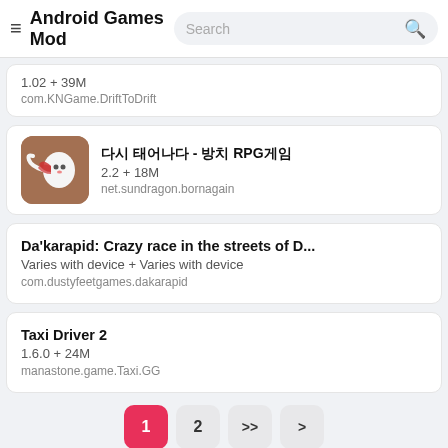Android Games Mod
1.02 + 39M
com.KNGame.DriftToDrift
다시 태어나다 - 방치 RPG게임
2.2 + 18M
net.sundragon.bornagain
Da'karapid: Crazy race in the streets of D...
Varies with device + Varies with device
com.dustyfeetgames.dakarapid
Taxi Driver 2
1.6.0 + 24M
manastone.game.Taxi.GG
1  2  >>  >